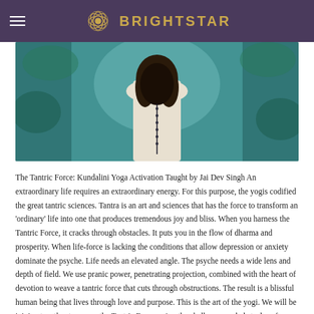BRIGHTSTAR
[Figure (photo): A woman with long curly dark hair seen from behind, wearing a light-colored garment with prayer beads, standing in a teal/turquoise foggy forest or nature setting.]
The Tantric Force: Kundalini Yoga Activation Taught by Jai Dev Singh An extraordinary life requires an extraordinary energy. For this purpose, the yogis codified the great tantric sciences. Tantra is an art and sciences that has the force to transform an 'ordinary' life into one that produces tremendous joy and bliss. When you harness the Tantric Force, it cracks through obstacles. It puts you in the flow of dharma and prosperity. When life-force is lacking the conditions that allow depression or anxiety dominate the psyche. Life needs an elevated angle. The psyche needs a wide lens and depth of field. We use pranic power, penetrating projection, combined with the heart of devotion to weave a tantric force that cuts through obstructions. The result is a blissful human being that lives through love and purpose. This is the art of the yogi. We will be joining together to weave the Tantric Force, using the challenges and obstacles of our lives to catapult us into the realm of